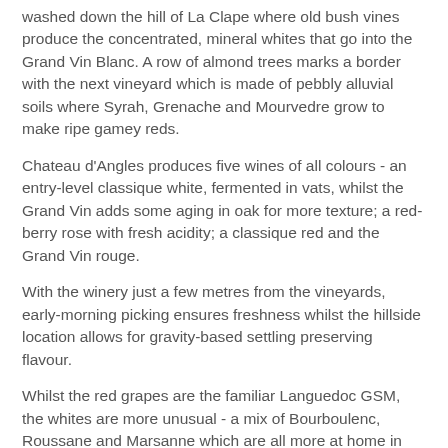washed down the hill of La Clape where old bush vines produce the concentrated, mineral whites that go into the Grand Vin Blanc. A row of almond trees marks a border with the next vineyard which is made of pebbly alluvial soils where Syrah, Grenache and Mourvedre grow to make ripe gamey reds.
Chateau d'Angles produces five wines of all colours - an entry-level classique white, fermented in vats, whilst the Grand Vin adds some aging in oak for more texture; a red-berry rose with fresh acidity; a classique red and the Grand Vin rouge.
With the winery just a few metres from the vineyards, early-morning picking ensures freshness whilst the hillside location allows for gravity-based settling preserving flavour.
Whilst the red grapes are the familiar Languedoc GSM, the whites are more unusual - a mix of Bourboulenc, Roussane and Marsanne which are all more at home in the Rhone, as well as Grenache Gris.